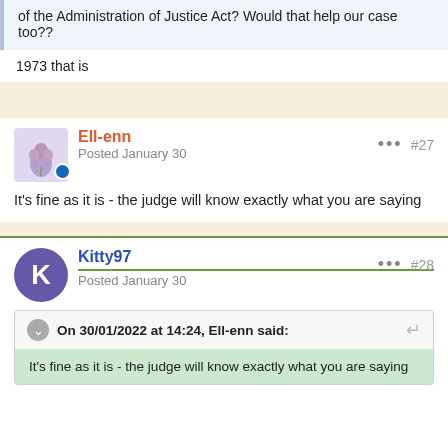of the Administration of Justice Act? Would that help our case too??
1973 that is
Ell-enn
Posted January 30
#27
It's fine as it is - the judge will know exactly what you are saying
Kitty97
Posted January 30
#28
On 30/01/2022 at 14:24, Ell-enn said:
It's fine as it is - the judge will know exactly what you are saying